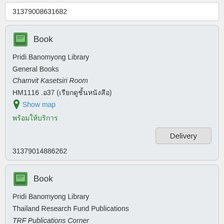31379008631682
[Figure (illustration): Green book icon]
Book
Pridi Banomyong Library
General Books
Charnvit Kasetsiri Room
HM1116 .อ37 (เรียกดูชั้นหนังสือ)
Show map
พร้อมให้บริการ
Delivery
31379014886262
[Figure (illustration): Green book icon]
Book
Pridi Banomyong Library
Thailand Research Fund Publications
TRF Publications Corner